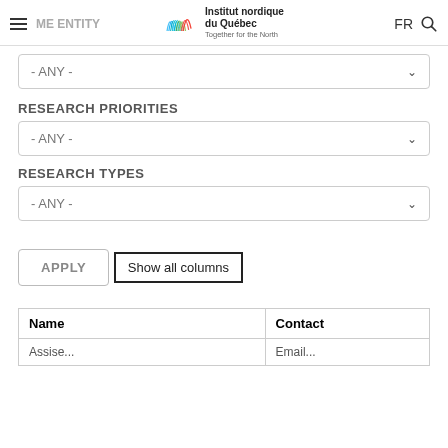ME ENTITY — Institut nordique du Québec — Together for the North — FR
- ANY -
RESEARCH PRIORITIES
- ANY -
RESEARCH TYPES
- ANY -
APPLY
Show all columns
| Name | Contact |
| --- | --- |
| Assise... | Email... |